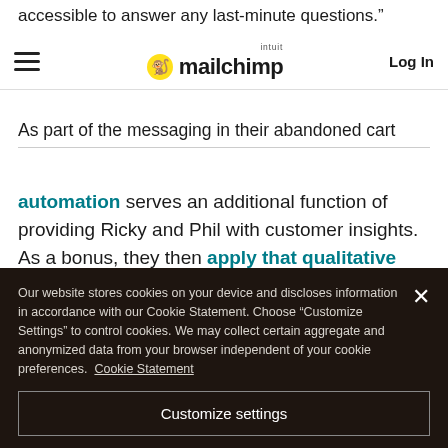accessible to answer any last-minute questions.”
Mailchimp (intuit) — Log In
As part of the messaging in their abandoned cart
automation serves an additional function of providing Ricky and Phil with customer insights. As a bonus, they then apply that qualitative data to improve the overall shopping experience.
Related Topics
Our website stores cookies on your device and discloses information in accordance with our Cookie Statement. Choose “Customize Settings” to control cookies. We may collect certain aggregate and anonymized data from your browser independent of your cookie preferences. Cookie Statement
Customize settings